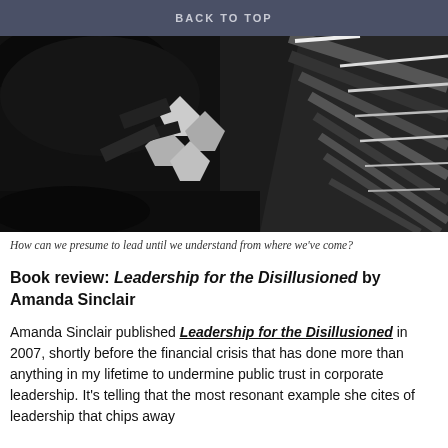BACK TO TOP
[Figure (photo): Black and white photograph showing abstract close-up of mechanical gears or industrial machinery with high contrast light and shadow]
How can we presume to lead until we understand from where we've come?
Book review: Leadership for the Disillusioned by Amanda Sinclair
Amanda Sinclair published Leadership for the Disillusioned in 2007, shortly before the financial crisis that has done more than anything in my lifetime to undermine public trust in corporate leadership. It's telling that the most resonant example she cites of leadership that chips away